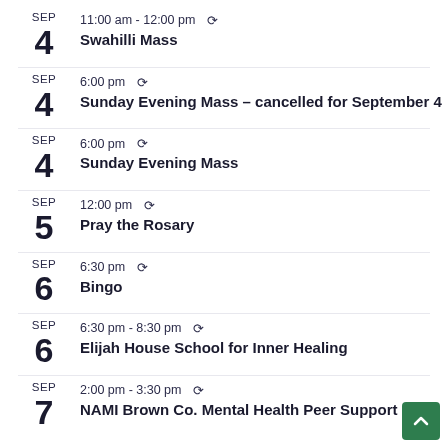SEP 4 — 11:00 am - 12:00 pm — Swahilli Mass
SEP 4 — 6:00 pm — Sunday Evening Mass – cancelled for September 4
SEP 4 — 6:00 pm — Sunday Evening Mass
SEP 5 — 12:00 pm — Pray the Rosary
SEP 6 — 6:30 pm — Bingo
SEP 6 — 6:30 pm - 8:30 pm — Elijah House School for Inner Healing
SEP 7 — 2:00 pm - 3:30 pm — NAMI Brown Co. Mental Health Peer Support Gro